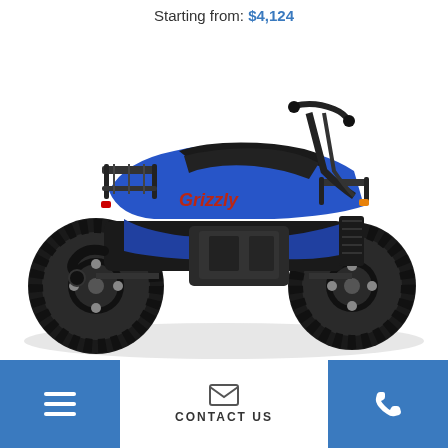Starting from: $4,124
[Figure (photo): Blue Yamaha Grizzly ATV (all-terrain vehicle) shown in profile view from the left side, featuring large knobby tires, rear and front cargo racks, and Grizzly branding on the side panel.]
CONTACT US